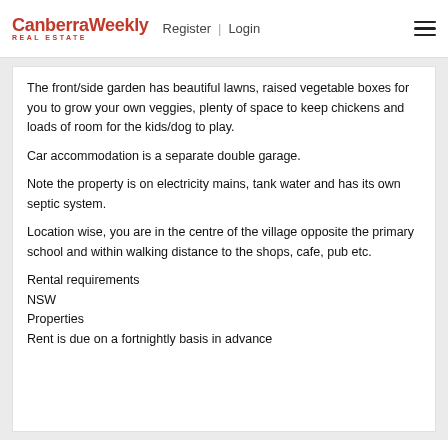Canberra Weekly REAL ESTATE | Register | Login
The front/side garden has beautiful lawns, raised vegetable boxes for you to grow your own veggies, plenty of space to keep chickens and loads of room for the kids/dog to play.
Car accommodation is a separate double garage.
Note the property is on electricity mains, tank water and has its own septic system.
Location wise, you are in the centre of the village opposite the primary school and within walking distance to the shops, cafe, pub etc.
Rental requirements
NSW
Properties
Rent is due on a fortnightly basis in advance